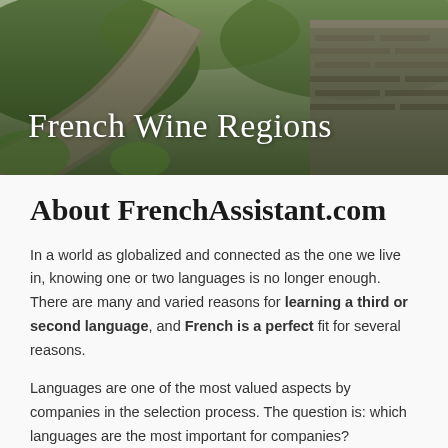[Figure (photo): A rural road winding through green fields with a stone wall on the right, with overlaid white text 'French Wine Regions']
French Wine Regions
About FrenchAssistant.com
In a world as globalized and connected as the one we live in, knowing one or two languages is no longer enough. There are many and varied reasons for learning a third or second language, and French is a perfect fit for several reasons.
Languages are one of the most valued aspects by companies in the selection process. The question is: which languages are the most important for companies?